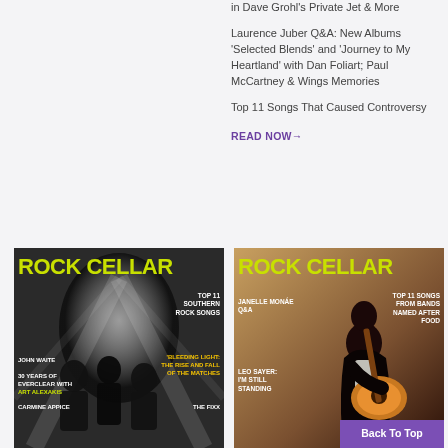in Dave Grohl's Private Jet & More
Laurence Juber Q&A: New Albums 'Selected Blends' and 'Journey to My Heartland' with Dan Foliart; Paul McCartney & Wings Memories
Top 11 Songs That Caused Controversy
READ NOW→
[Figure (photo): Rock Cellar magazine cover featuring band members in dark tunnel with yellow-green logo text, John Waite, Art Alexakis, Carmine Appice, The Fixx, Top 11 Southern Rock Songs, Bleeding Light Rise and Fall of The Matches]
[Figure (photo): Rock Cellar magazine cover featuring guitarist in dark jacket holding acoustic guitar, Janelle Monae Q&A, Leo Sayer I'm Still Standing, Top 11 Songs From Bands Named After Food]
Back To Top